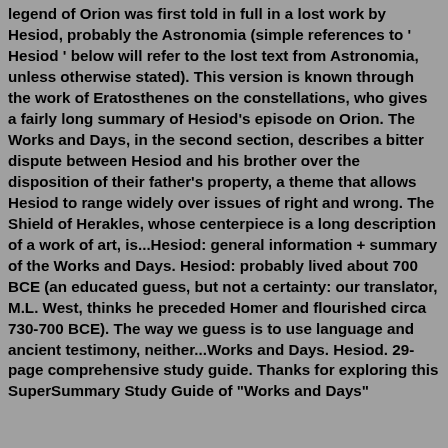legend of Orion was first told in full in a lost work by Hesiod, probably the Astronomia (simple references to ' Hesiod ' below will refer to the lost text from Astronomia, unless otherwise stated). This version is known through the work of Eratosthenes on the constellations, who gives a fairly long summary of Hesiod's episode on Orion. The Works and Days, in the second section, describes a bitter dispute between Hesiod and his brother over the disposition of their father's property, a theme that allows Hesiod to range widely over issues of right and wrong. The Shield of Herakles, whose centerpiece is a long description of a work of art, is...Hesiod: general information + summary of the Works and Days. Hesiod: probably lived about 700 BCE (an educated guess, but not a certainty: our translator, M.L. West, thinks he preceded Homer and flourished circa 730-700 BCE). The way we guess is to use language and ancient testimony, neither...Works and Days. Hesiod. 29-page comprehensive study guide. Thanks for exploring this SuperSummary Study Guide of "Works and Days"